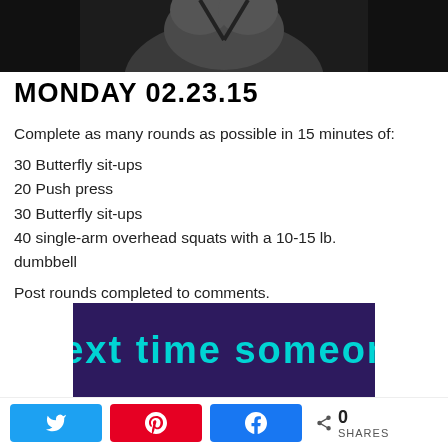[Figure (photo): Black and white photo of athlete, cropped showing back/shoulders area]
MONDAY 02.23.15
Complete as many rounds as possible in 15 minutes of:
30 Butterfly sit-ups
20 Push press
30 Butterfly sit-ups
40 single-arm overhead squats with a 10-15 lb. dumbbell
Post rounds completed to comments.
[Figure (illustration): Dark purple banner with teal text reading 'Next time someone']